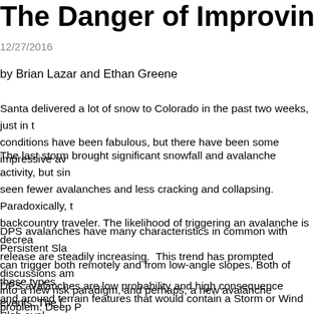The Danger of Improving St…
12/27/2016
by Brian Lazar and Ethan Greene
Santa delivered a lot of snow to Colorado in the past two weeks, just in t… conditions have been fabulous, but there have been some impressive av…
The last storm brought significant snowfall and avalanche activity, but sin… seen fewer avalanches and less cracking and collapsing. Paradoxically, t… backcountry traveler. The likelihood of triggering an avalanche is decrea… release are steadily increasing. This trend has prompted discussions am… into a new risk paradigm, and perhaps, a new avalanche problem: Deep P…
DPS avalanches have many characteristics in common with Persistent Sla… can trigger both remotely and from low-angle slopes. Both of these types… and around terrain features that would contain a Storm or Wind Slab aval… there are some very important differences that affect how we avoid them…
DPS avalanches are low probability and high consequence events. The l… avalanche can vary over a wide range. DPS avalanches are a specific cre… three things before we add it to our list of Avalanche Problems. Those th…